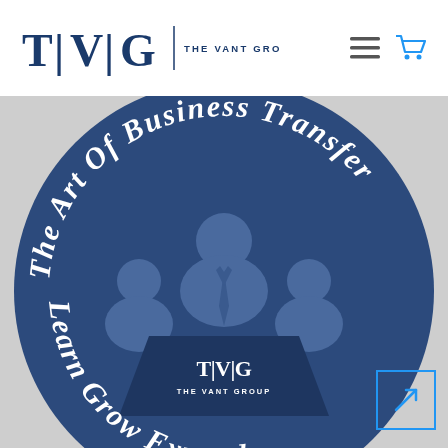[Figure (logo): TVG The Vant Group logo in navy blue with vertical divider bars and sans-serif subtitle text]
[Figure (illustration): Dark navy blue circular badge/seal for The Vant Group showing three business person silhouettes at a conference table with TVG podium logo in center. Curved arc text reads 'The Art Of Business Transfer' along the top arc and 'Learn Grow Expand' along the bottom arc.]